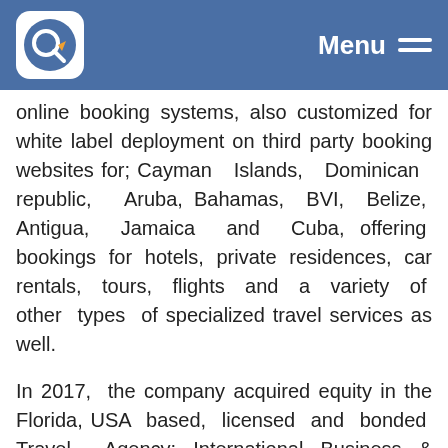Menu
online booking systems, also customized for white label deployment on third party booking websites for; Cayman Islands, Dominican republic, Aruba, Bahamas, BVI, Belize, Antigua, Jamaica and Cuba, offering bookings for hotels, private residences, car rentals, tours, flights and a variety of other types of specialized travel services as well.
In 2017, the company acquired equity in the Florida, USA based, licensed and bonded Travel Agency; International Business & Travel Opportunities, LLC (IBTO), a Caribbean Basin focused travel facilitator